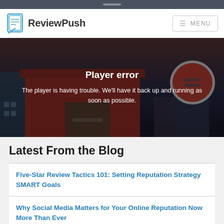ReviewPush — MENU
[Figure (screenshot): Video player error screen showing an animated storefront scene with 'Spot On Repairs' sign. Overlay reads 'Player error — The player is having trouble. We'll have it back up and running as soon as possible.']
Latest From the Blog
Five-Star Review Tactics 101: Setting Reputation Strategy SMART Goals
Why Social Media Matters for Your Online Reputation Now More Than Ever